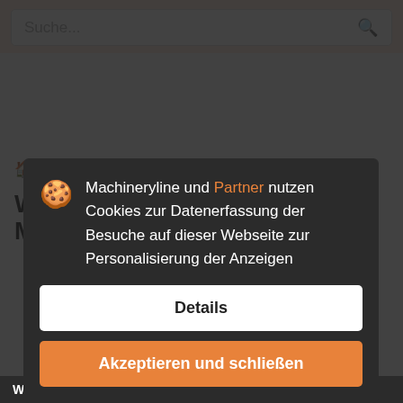Suche...
Baumaschinen > WACKER Baumaschinen
WACKER Baumaschinen - Mexiko
Machineryline und Partner nutzen Cookies zur Datenerfassung der Besuche auf dieser Webseite zur Personalisierung der Anzeigen
Details
Akzeptieren und schließen
WACKER Baumaschinen - Mexiko: 27 Anzeigen